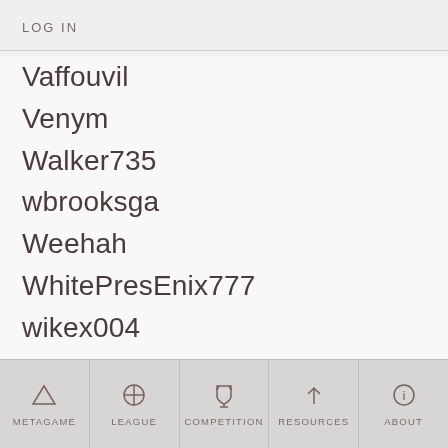LOG IN
Vaffouvil
Venym
Walker735
wbrooksga
Weehah
WhitePresEnix777
wikex004
willpower411
wow_bees
x2wolf
Xerosis
YellowStone
METAGAME | LEAGUE | COMPETITION | RESOURCES | ABOUT